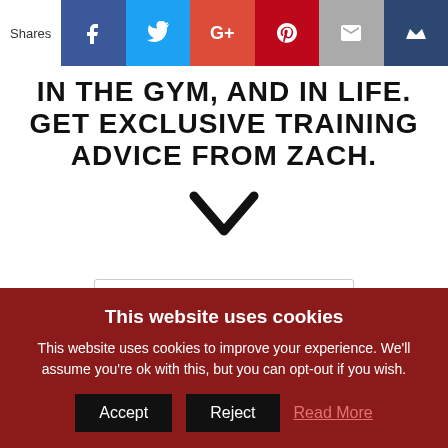Shares
GET EXCLUSIVE TRAINING ADVICE FROM ZACH.
[Figure (other): Chevron/down arrow icon in black]
Email Address
This website uses cookies
This website uses cookies to improve your experience. We'll assume you're ok with this, but you can opt-out if you wish.
Accept   Reject   Read More